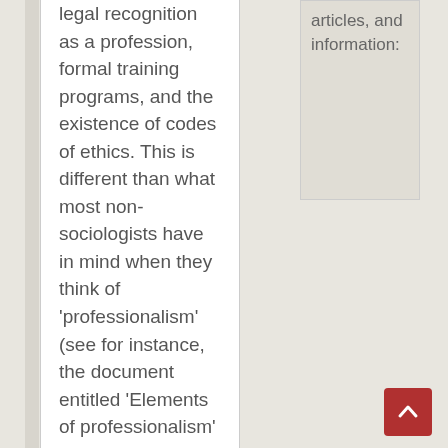legal recognition as a profession, formal training programs, and the existence of codes of ethics. This is different than what most non-sociologists have in mind when they think of 'professionalism' (see for instance, the document entitled 'Elements of professionalism' authored by the Chief Justice of Ontario Advisory
articles, and information: